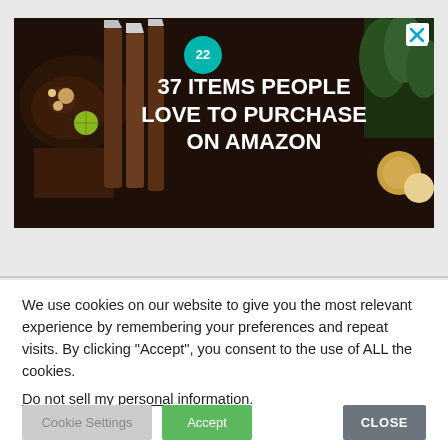[Figure (photo): Advertisement banner showing kitchen knives and food items on a dark background, with teal badge showing '22' and large white bold text reading '37 ITEMS PEOPLE LOVE TO PURCHASE ON AMAZON'. An X close button is in the top right corner.]
We use cookies on our website to give you the most relevant experience by remembering your preferences and repeat visits. By clicking "Accept", you consent to the use of ALL the cookies.
Do not sell my personal information.